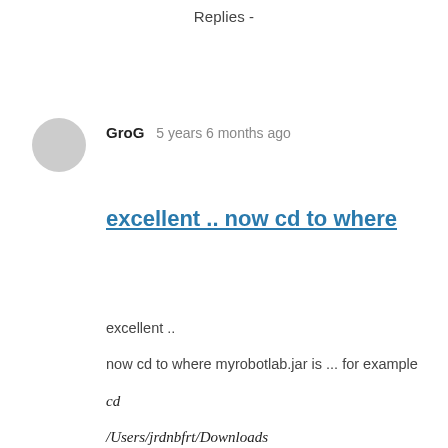Replies -
GroG   5 years 6 months ago
excellent .. now cd to where
excellent ..
now cd to where myrobotlab.jar is ... for example
cd /Users/jrdnbfrt/Downloads
then
java -jar myrobotlab.jar